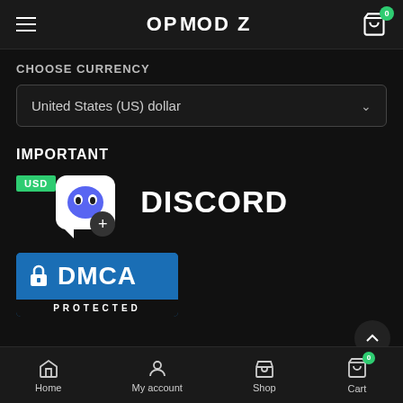OPMODZ
CHOOSE CURRENCY
United States (US) dollar
IMPORTANT
[Figure (logo): USD badge and Discord logo with wumpus mascot icon and wordmark DISCORD]
[Figure (logo): DMCA Protected badge - blue rectangle with lock icon, DMCA text, and PROTECTED label]
Home  My account  Shop  Cart